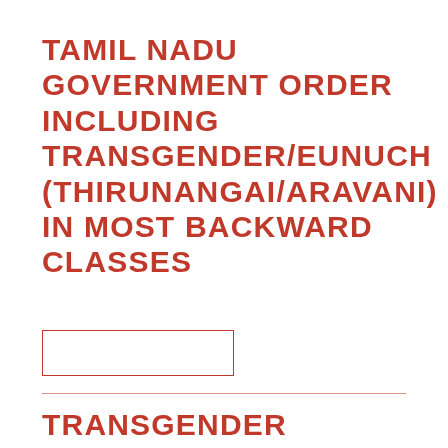TAMIL NADU GOVERNMENT ORDER INCLUDING TRANSGENDER/EUNUCH (THIRUNANGAI/ARAVANI) IN MOST BACKWARD CLASSES
[Figure (other): A small rectangular image placeholder with a red border, content not visible]
TRANSGENDER PERSONS (PROTECTION OF RIGHTS) ACT